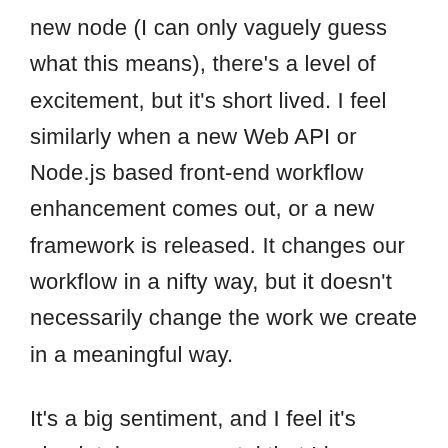new node (I can only vaguely guess what this means), there's a level of excitement, but it's short lived. I feel similarly when a new Web API or Node.js based front-end workflow enhancement comes out, or a new framework is released. It changes our workflow in a nifty way, but it doesn't necessarily change the work we create in a meaningful way.
It's a big sentiment, and I feel it's absolutely monumental that I happen to share this sentiment about the same new technology with a cinematographer...someone whom I might never even speak to in a professional capacity I